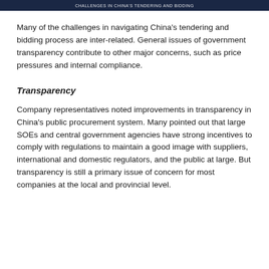Many of the challenges in navigating China's tendering and bidding process are inter-related. General issues of government transparency contribute to other major concerns, such as price pressures and internal compliance.
Transparency
Company representatives noted improvements in transparency in China's public procurement system. Many pointed out that large SOEs and central government agencies have strong incentives to comply with regulations to maintain a good image with suppliers, international and domestic regulators, and the public at large. But transparency is still a primary issue of concern for most companies at the local and provincial level.